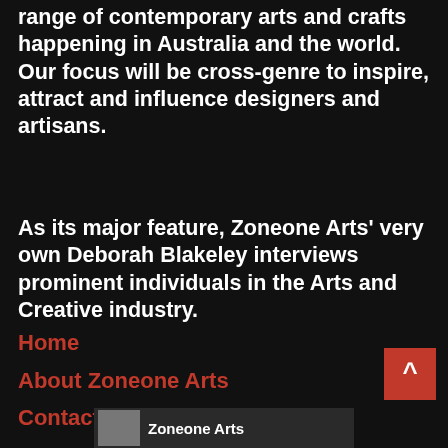…online interviews that showcase the full range of contemporary arts and crafts happening in Australia and the world. Our focus will be cross-genre to inspire, attract and influence designers and artisans.
As its major feature, Zoneone Arts' very own Deborah Blakeley interviews prominent individuals in the Arts and Creative industry.
Home
About Zoneone Arts
Contacts Us
[Figure (screenshot): Red back-to-top button with upward caret arrow, positioned bottom right]
[Figure (screenshot): Footer bar showing Zoneone Arts logo and brand name]